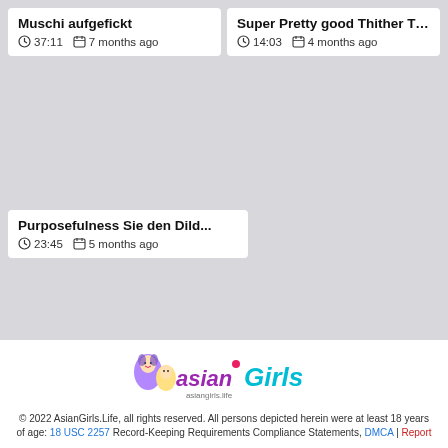Muschi aufgefickt
⊙ 37:11   🗓 7 months ago
Super Pretty good Thither Ti...
⊙ 14:03   🗓 4 months ago
Purposefulness Sie den Dild...
⊙ 23:45   🗓 5 months ago
[Figure (logo): AsianGirls.Life logo with anime character illustrations and purple/teal lettering, asiangirls.life]
© 2022 AsianGirls.Life, all rights reserved. All persons depicted herein were at least 18 years of age: 18 USC 2257 Record-Keeping Requirements Compliance Statements, DMCA | Report